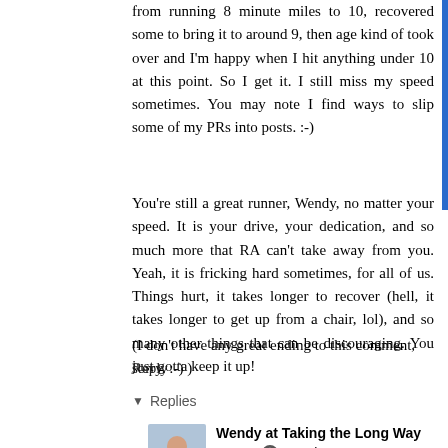from running 8 minute miles to 10, recovered some to bring it to around 9, then age kind of took over and I'm happy when I hit anything under 10 at this point. So I get it. I still miss my speed sometimes. You may note I find ways to slip some of my PRs into posts. :-)
You're still a great runner, Wendy, no matter your speed. It is your drive, your dedication, and so much more that RA can't take away from you. Yeah, it is fricking hard sometimes, for all of us. Things hurt, it takes longer to recover (hell, it takes longer to get up from a chair, lol), and so many other things that can be discouraging. You just gotta keep it up!
(I don't have any great ending to this comment, sorry. :-) )
Reply
▾  Replies
Wendy at Taking the Long Way Home  ✎  October 29, 2017 at 4:17 PM
I like that quote and I may be using it in the future! Amby is the inspiration behind my run/walk intervals,